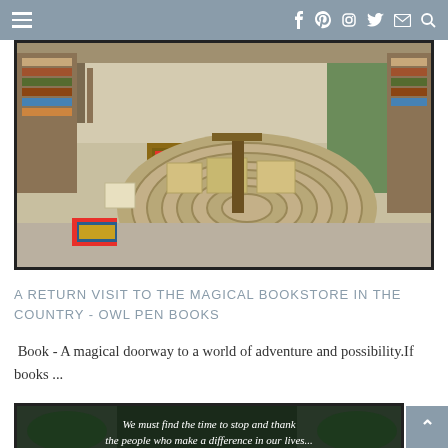Navigation bar with hamburger menu and social icons (f, P, instagram, twitter, mail, search)
[Figure (photo): Interior of a rustic bookstore with wooden shelves filled with books, boxes on the floor, a large circular braided rug in the center, concrete floor, and bookshelves receding into the background. Natural lighting.]
A RETURN VISIT TO THE MAGICAL BOOKSTORE IN THE COUNTRY - OWL PEN BOOKS
Book - A magical doorway to a world of adventure and possibility.If books ...
[Figure (photo): Dark nature/garden background with white italic text overlay reading: We must find the time to stop and thank]
Scroll to top button (^)